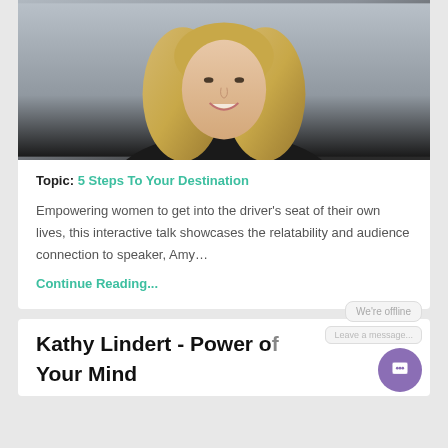[Figure (photo): Headshot of a smiling woman with blonde shoulder-length hair wearing a black top, photographed against a gray background.]
Topic: 5 Steps To Your Destination
Empowering women to get into the driver's seat of their own lives, this interactive talk showcases the relatability and audience connection to speaker, Amy…
Continue Reading...
Kathy Lindert - Power o[f Your Mind]